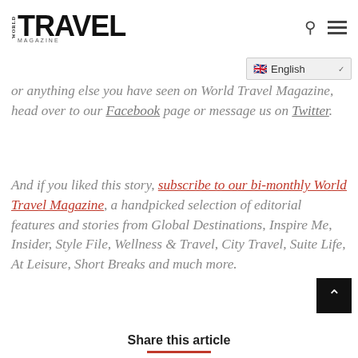WORLD TRAVEL MAGAZINE
or anything else you have seen on World Travel Magazine, head over to our Facebook page or message us on Twitter.
And if you liked this story, subscribe to our bi-monthly World Travel Magazine, a handpicked selection of editorial features and stories from Global Destinations, Inspire Me, Insider, Style File, Wellness & Travel, City Travel, Suite Life, At Leisure, Short Breaks and much more.
Share this article